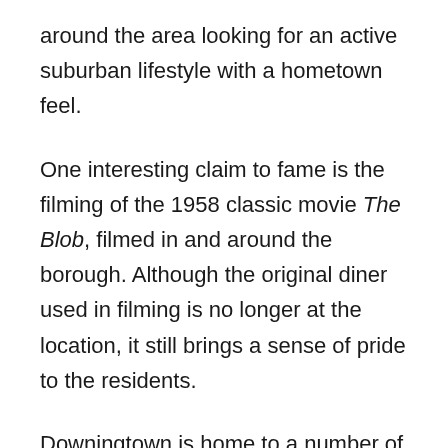around the area looking for an active suburban lifestyle with a hometown feel.
One interesting claim to fame is the filming of the 1958 classic movie The Blob, filmed in and around the borough. Although the original diner used in filming is no longer at the location, it still brings a sense of pride to the residents.
Downingtown is home to a number of Pennsylvania’s best micro-breweries including Levante, Victory, Stolen Sun, and East Branch. The town center has a number of fabulous restaurants, boutique shops, and historic buildings. Just outside of the borough is Marsh Creek State Park, part of the Pennsylvania Department of